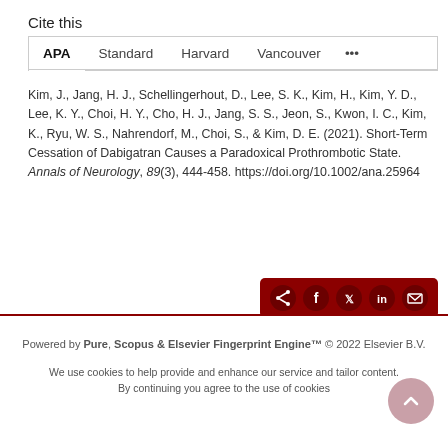Cite this
APA  Standard  Harvard  Vancouver  •••
Kim, J., Jang, H. J., Schellingerhout, D., Lee, S. K., Kim, H., Kim, Y. D., Lee, K. Y., Choi, H. Y., Cho, H. J., Jang, S. S., Jeon, S., Kwon, I. C., Kim, K., Ryu, W. S., Nahrendorf, M., Choi, S., & Kim, D. E. (2021). Short-Term Cessation of Dabigatran Causes a Paradoxical Prothrombotic State. Annals of Neurology, 89(3), 444-458. https://doi.org/10.1002/ana.25964
Powered by Pure, Scopus & Elsevier Fingerprint Engine™ © 2022 Elsevier B.V.
We use cookies to help provide and enhance our service and tailor content. By continuing you agree to the use of cookies